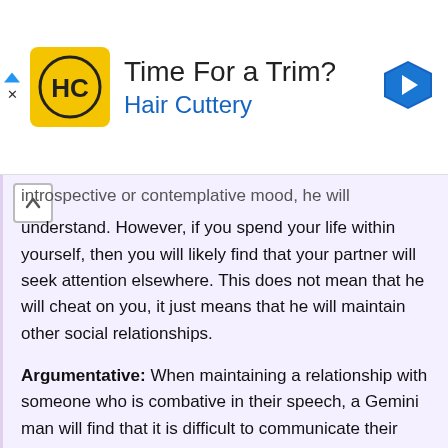[Figure (other): Hair Cuttery advertisement banner with yellow logo showing 'HC', text 'Time For a Trim?' and 'Hair Cuttery', blue diamond navigation icon on right, triangular play button and X mark on left]
introspective or contemplative mood, he will understand. However, if you spend your life within yourself, then you will likely find that your partner will seek attention elsewhere. This does not mean that he will cheat on you, it just means that he will maintain other social relationships.
Argumentative: When maintaining a relationship with someone who is combative in their speech, a Gemini man will find that it is difficult to communicate their feelings. When this happens, serious stress will be developed in your relationship. If the natural form of communication is sharp and aggressive, then he will certainly start conversations in the same tone. This will cause disagreements to snowball into major concerns.